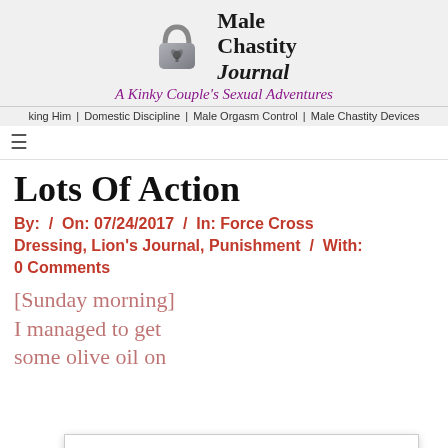[Figure (logo): Male Chastity Journal logo with padlock heart icon]
A Kinky Couple's Sexual Adventures
king Him | Domestic Discipline | Male Orgasm Control | Male Chastity Devices
Lots Of Action
By:  /  On: 07/24/2017  /  In: Force Cross Dressing, Lion's Journal, Punishment  /  With: 0 Comments
Privacy & Cookies: This site uses cookies. By continuing to use this website, you agree to their use.
To find out more, including how to control cookies, see here:
Cookie Policy
[Sunday morning]
I managed to get
some olive oil on